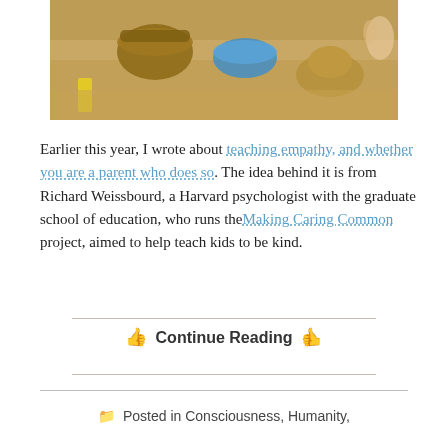[Figure (photo): Children playing in sand with baskets, a blue bowl, and sand castle shapes]
Earlier this year, I wrote about teaching empathy, and whether you are a parent who does so. The idea behind it is from Richard Weissbourd, a Harvard psychologist with the graduate school of education, who runs the Making Caring Common project, aimed to help teach kids to be kind.
👍 Continue Reading 👍
Posted in Consciousness, Humanity,